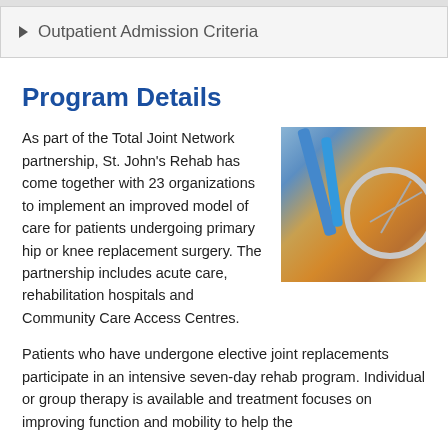▶ Outpatient Admission Criteria
Program Details
As part of the Total Joint Network partnership, St. John's Rehab has come together with 23 organizations to implement an improved model of care for patients undergoing primary hip or knee replacement surgery. The partnership includes acute care, rehabilitation hospitals and Community Care Access Centres.
[Figure (photo): Close-up photo of a bicycle wheel and frame, showing spokes, rim, and blue cables/tubes, with a person's foot/shoe visible near the pedal area.]
Patients who have undergone elective joint replacements participate in an intensive seven-day rehab program. Individual or group therapy is available and treatment focuses on improving function and mobility to help the